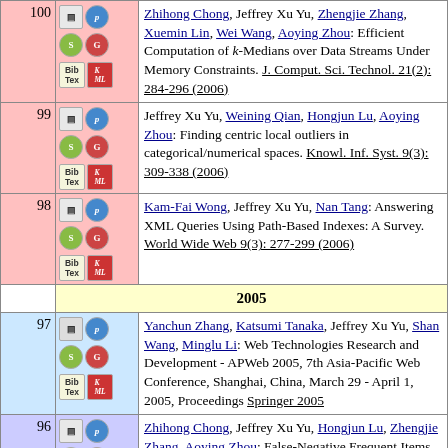100. Zhihong Chong, Jeffrey Xu Yu, Zhengjie Zhang, Xuemin Lin, Wei Wang, Aoying Zhou: Efficient Computation of k-Medians over Data Streams Under Memory Constraints. J. Comput. Sci. Technol. 21(2): 284-296 (2006)
99. Jeffrey Xu Yu, Weining Qian, Hongjun Lu, Aoying Zhou: Finding centric local outliers in categorical/numerical spaces. Knowl. Inf. Syst. 9(3): 309-338 (2006)
98. Kam-Fai Wong, Jeffrey Xu Yu, Nan Tang: Answering XML Queries Using Path-Based Indexes: A Survey. World Wide Web 9(3): 277-299 (2006)
2005
97. Yanchun Zhang, Katsumi Tanaka, Jeffrey Xu Yu, Shan Wang, Minglu Li: Web Technologies Research and Development - APWeb 2005, 7th Asia-Pacific Web Conference, Shanghai, China, March 29 - April 1, 2005, Proceedings Springer 2005
96. Zhihong Chong, Jeffrey Xu Yu, Hongjun Lu, Zhengjie Zhang, Aoying Zhou: False-Negative Frequent Items Mining from Data Streams with Bursting. DASFAA 2005: 422-434
95. Nan Tang, Jeffrey Xu Yu, Kam-Fai Wong, Kevin Lü...